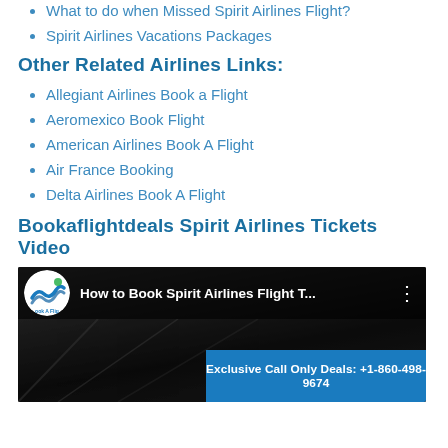What to do when Missed Spirit Airlines Flight?
Spirit Airlines Vacations Packages
Other Related Airlines Links:
Allegiant Airlines Book a Flight
Aeromexico Book Flight
American Airlines Book A Flight
Air France Booking
Delta Airlines Book A Flight
Bookaflightdeals Spirit Airlines Tickets Video
[Figure (screenshot): Video thumbnail showing 'How to Book Spirit Airlines Flight T...' with a logo, dark background showing airplane interior, and a blue call-only deals banner reading 'Exclusive Call Only Deals: +1-860-498-9674']